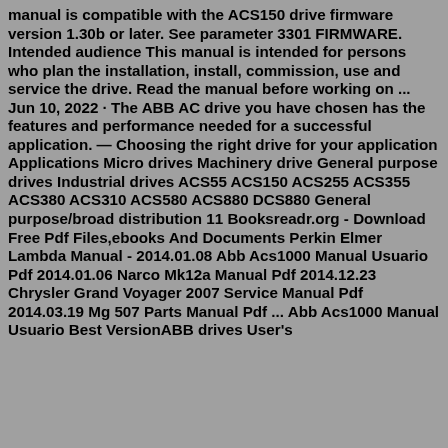manual is compatible with the ACS150 drive firmware version 1.30b or later. See parameter 3301 FIRMWARE. Intended audience This manual is intended for persons who plan the installation, install, commission, use and service the drive. Read the manual before working on ... Jun 10, 2022 · The ABB AC drive you have chosen has the features and performance needed for a successful application. — Choosing the right drive for your application Applications Micro drives Machinery drive General purpose drives Industrial drives ACS55 ACS150 ACS255 ACS355 ACS380 ACS310 ACS580 ACS880 DCS880 General purpose/broad distribution 11 Booksreadr.org - Download Free Pdf Files,ebooks And Documents Perkin Elmer Lambda Manual - 2014.01.08 Abb Acs1000 Manual Usuario Pdf 2014.01.06 Narco Mk12a Manual Pdf 2014.12.23 Chrysler Grand Voyager 2007 Service Manual Pdf 2014.03.19 Mg 507 Parts Manual Pdf ... Abb Acs1000 Manual Usuario Best VersionABB drives User's manual ACS150 drive (0.37...4 kW, 0.5...5 hp) List of